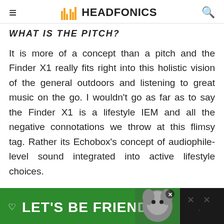HEADFONICS
WHAT IS THE PITCH?
It is more of a concept than a pitch and the Finder X1 really fits right into this holistic vision of the general outdoors and listening to great music on the go. I wouldn't go as far as to say the Finder X1 is a lifestyle IEM and all the negative connotations we throw at this flimsy tag. Rather its Echobox's concept of audiophile-level sound integrated into active lifestyle choices.
[Figure (other): Advertisement banner with green background showing a husky dog and text 'LET'S BE FRIENDS']